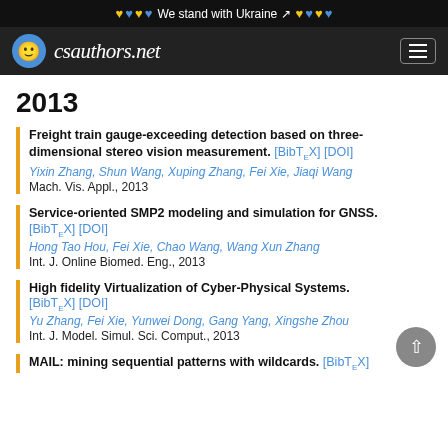We stand with Ukraine — csauthors.net
2013
Freight train gauge-exceeding detection based on three-dimensional stereo vision measurement. [BibTeX] [DOI]
Yixin Zhang, Shun Wang, Xuping Zhang, Fei Xie, Jiaqi Wang
Mach. Vis. Appl., 2013
Service-oriented SMP2 modeling and simulation for GNSS. [BibTeX] [DOI]
Hong Tao Hou, Fei Xie, Chao Wang, Wang Xun Zhang
Int. J. Online Biomed. Eng., 2013
High fidelity Virtualization of Cyber-Physical Systems. [BibTeX] [DOI]
Yu Zhang, Fei Xie, Yunwei Dong, Gang Yang, Xingshe Zhou
Int. J. Model. Simul. Sci. Comput., 2013
MAIL: mining sequential patterns with wildcards. [BibTeX]